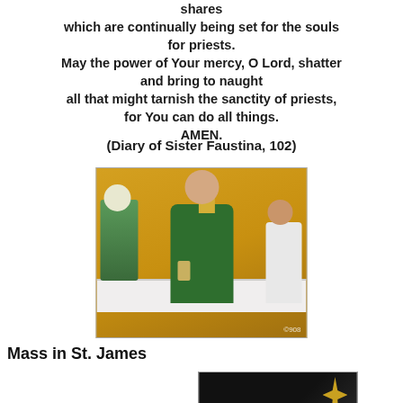shares
which are continually being set for the souls for priests.
May the power of Your mercy, O Lord, shatter and bring to naught
all that might tarnish the sanctity of priests,
for You can do all things.
AMEN.
(Diary of Sister Faustina, 102)
[Figure (photo): A priest in green vestments holding a chalice at an altar during Mass, with an assistant in white robes seated to the right and flowers on the left. Golden/yellow background.]
Mass in St. James
[Figure (photo): Dark image showing what appears to be a monstrance or religious object against a black background.]